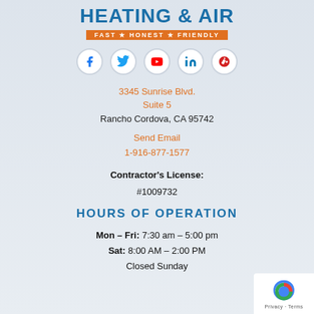HEATING & AIR
FAST ★ HONEST ★ FRIENDLY
[Figure (other): Row of 5 social media icons: Facebook, Twitter, YouTube, LinkedIn, Yelp]
3345 Sunrise Blvd.
Suite 5
Rancho Cordova, CA 95742
Send Email
1-916-877-1577
Contractor's License:
#1009732
HOURS OF OPERATION
Mon – Fri: 7:30 am – 5:00 pm
Sat: 8:00 AM – 2:00 PM
Closed Sunday